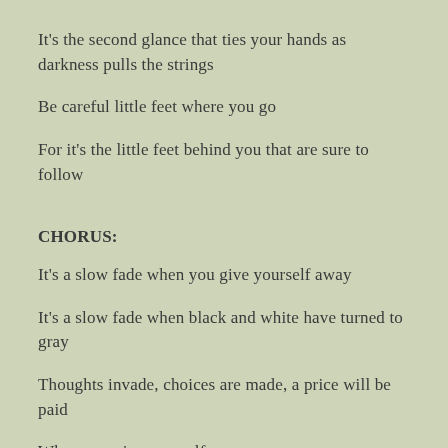It's the second glance that ties your hands as darkness pulls the strings
Be careful little feet where you go
For it's the little feet behind you that are sure to follow
CHORUS:
It's a slow fade when you give yourself away
It's a slow fade when black and white have turned to gray
Thoughts invade, choices are made, a price will be paid
When you give yourself away